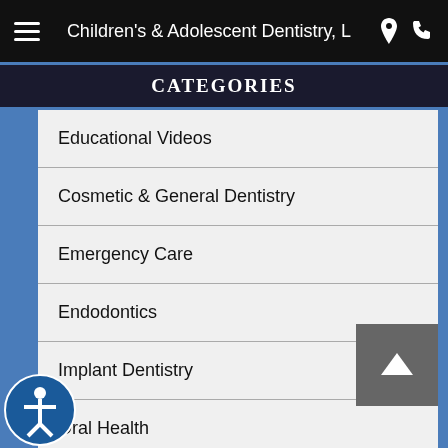Children's & Adolescent Dentistry, L
CATEGORIES
Educational Videos
Cosmetic & General Dentistry
Emergency Care
Endodontics
Implant Dentistry
Oral Health
al Hygiene